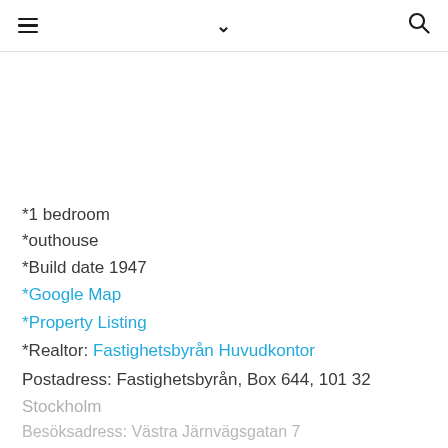≡  ∨  🔍
*1 bedroom
*outhouse
*Build date 1947
*Google Map
*Property Listing
*Realtor: Fastighetsbyrån Huvudkontor
Postadress: Fastighetsbyrån, Box 644, 101 32
Stockholm
Besöksadress: Västra Järnvägsgatan 7